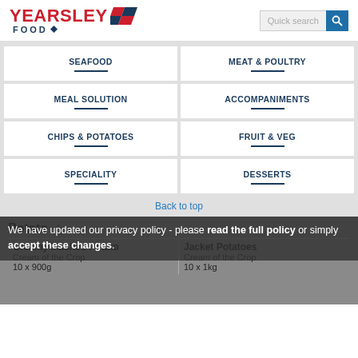[Figure (logo): Yearsley Food logo with red text and diamond flag graphic]
Quick search
SEAFOOD
MEAT & POULTRY
MEAL SOLUTION
ACCOMPANIMENTS
CHIPS & POTATOES
FRUIT & VEG
SPECIALITY
DESSERTS
Back to top
Potato
We have updated our privacy policy - please read the full policy or simply accept these changes.
Creamy Mashed Potato
Cream of the Crop
10 x 900g
Jacket Potatoes
Cream of the Crop
10 x 1kg